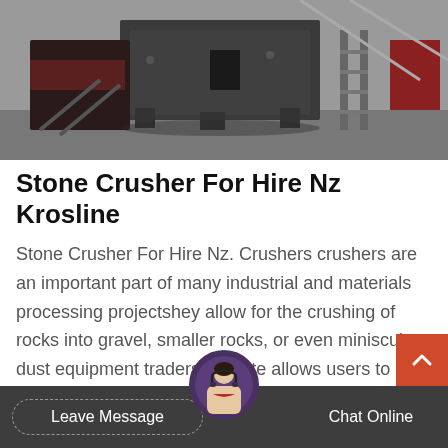[Figure (photo): Industrial stone crusher machinery in a factory/warehouse setting, showing large heavy metal crushing equipment on a concrete floor with structural elements in background]
Stone Crusher For Hire Nz Krosline
Stone Crusher For Hire Nz. Crushers crushers are an important part of many industrial and materials processing projectshey allow for the crushing of rocks into gravel, smaller rocks, or even miniscule dust equipment traders website allows users to quickly search for the best models near.jaw crusher Dealer, Fote.